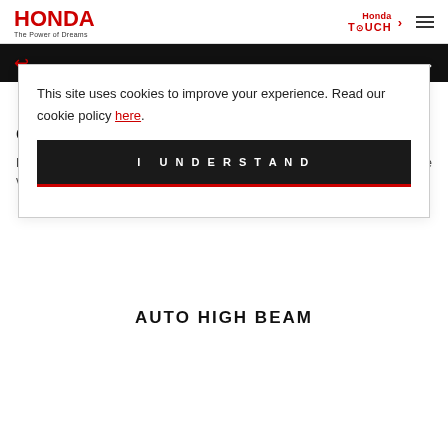HONDA The Power of Dreams | Honda TOUCH | Menu
[Figure (screenshot): Honda logo with 'The Power of Dreams' tagline on left; Honda TOUCH with chevron in center; hamburger menu icon on right]
[Figure (screenshot): Navigation bar: back arrow (red) on left, down chevron (white) on right, black background]
will receive smart audio and visual alerts.
This site uses cookies to improve your experience. Read our cookie policy here.
[Figure (screenshot): Cookie consent overlay with 'I UNDERSTAND' button on dark background with red bottom border]
COLLIS... M
Brakes are... the vehicl...
AUTO HIGH BEAM